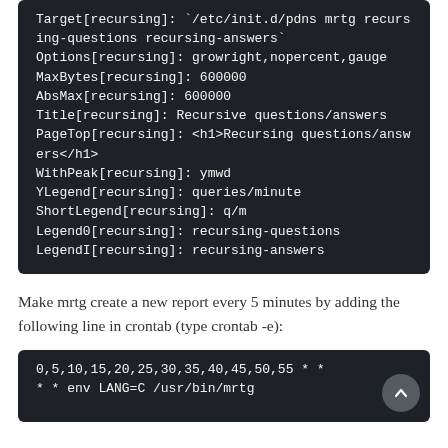[Figure (screenshot): Dark-background code block showing MRTG configuration: Target[recursing], Options[recursing], MaxBytes[recursing], AbsMax[recursing], Title[recursing], PageTop[recursing], WithPeak[recursing], YLegend[recursing], ShortLegend[recursing], Legend0[recursing], LegendI[recursing] settings.]
Make mrtg create a new report every 5 minutes by adding the following line in crontab (type crontab -e):
[Figure (screenshot): Dark-background code block showing crontab entry: 0,5,10,15,20,25,30,35,40,45,50,55 * * * * env LANG=C /usr/bin/mrtg]